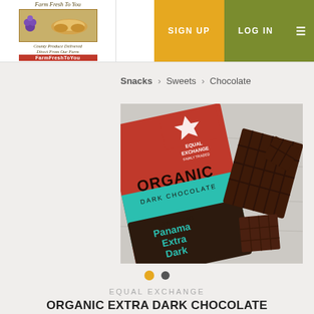Farm Fresh To You — SIGN UP | LOG IN
Snacks > Sweets > Chocolate
[Figure (photo): Equal Exchange Organic Dark Chocolate 80% Cacao Panama Extra Dark chocolate bar packaging on a wooden surface with broken chocolate pieces]
EQUAL EXCHANGE
ORGANIC EXTRA DARK CHOCOLATE BAR, 80% CACAO